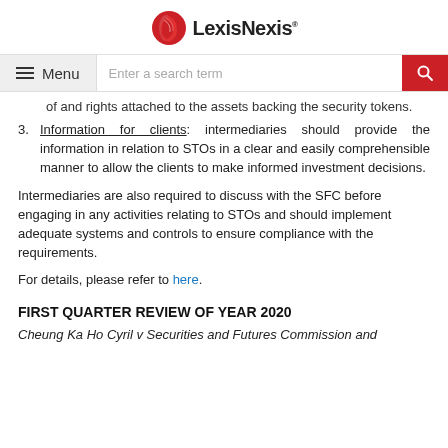LexisNexis
of and rights attached to the assets backing the security tokens.
3. Information for clients: intermediaries should provide the information in relation to STOs in a clear and easily comprehensible manner to allow the clients to make informed investment decisions.
Intermediaries are also required to discuss with the SFC before engaging in any activities relating to STOs and should implement adequate systems and controls to ensure compliance with the requirements.
For details, please refer to here.
FIRST QUARTER REVIEW OF YEAR 2020
Cheung Ka Ho Cyril v Securities and Futures Commission and